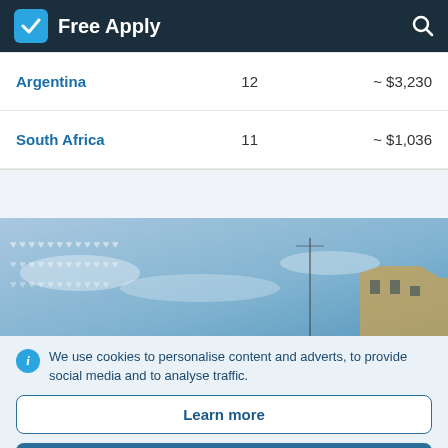Free Apply
| Country | Count | Price |
| --- | --- | --- |
| Argentina | 12 | ~ $3,230 |
| South Africa | 11 | ~ $1,036 |
[Figure (photo): Blue sky with heart patterns and a building visible at the right edge]
We use cookies to personalise content and adverts, to provide social media and to analyse traffic.
Learn more
Accept